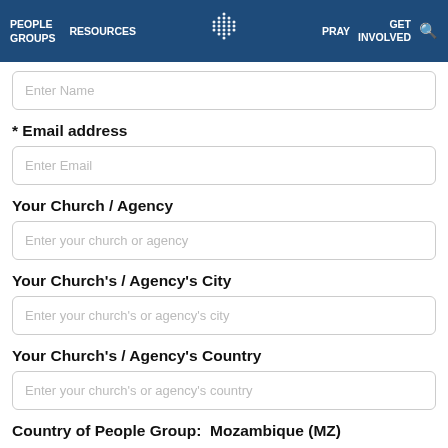PEOPLE GROUPS  RESOURCES  [logo]  PRAY  GET INVOLVED  [search]
Enter Name
* Email address
Enter Email
Your Church / Agency
Enter your church or agency
Your Church's / Agency's City
Enter your church's or agency's city
Your Church's / Agency's Country
Enter your church's or agency's country
Country of People Group:  Mozambique (MZ)